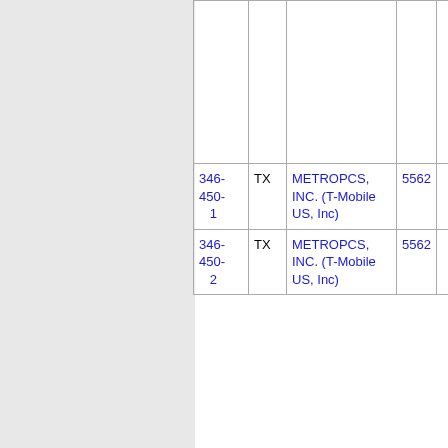| Number | State | Company | Code |  |
| --- | --- | --- | --- | --- |
| 346-450-1 | TX | METROPCS, INC. (T-Mobile US, Inc) | 5562 |  |
| 346-450-2 | TX | METROPCS, INC. (T-Mobile US, Inc) | 5562 |  |